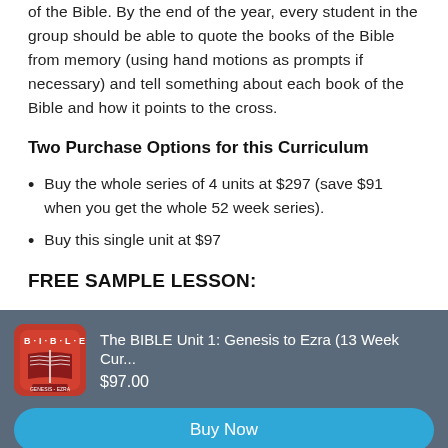of the Bible. By the end of the year, every student in the group should be able to quote the books of the Bible from memory (using hand motions as prompts if necessary) and tell something about each book of the Bible and how it points to the cross.
Two Purchase Options for this Curriculum
Buy the whole series of 4 units at $297 (save $91 when you get the whole 52 week series).
Buy this single unit at $97
FREE SAMPLE LESSON:
[Figure (other): Bible curriculum product image - red square icon with BIBLE text and open book illustration]
The BIBLE Unit 1: Genesis to Ezra (13 Week Cur...
$97.00
Buy Now